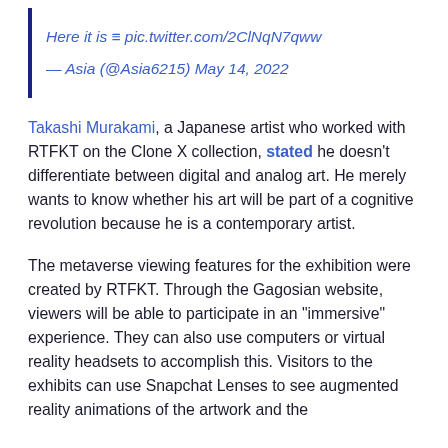Here it is ≡ pic.twitter.com/2ClNqN7qww
— Asia (@Asia6215) May 14, 2022
Takashi Murakami, a Japanese artist who worked with RTFKT on the Clone X collection, stated he doesn't differentiate between digital and analog art. He merely wants to know whether his art will be part of a cognitive revolution because he is a contemporary artist.
The metaverse viewing features for the exhibition were created by RTFKT. Through the Gagosian website, viewers will be able to participate in an "immersive" experience. They can also use computers or virtual reality headsets to accomplish this. Visitors to the exhibits can use Snapchat Lenses to see augmented reality animations of the artwork and the